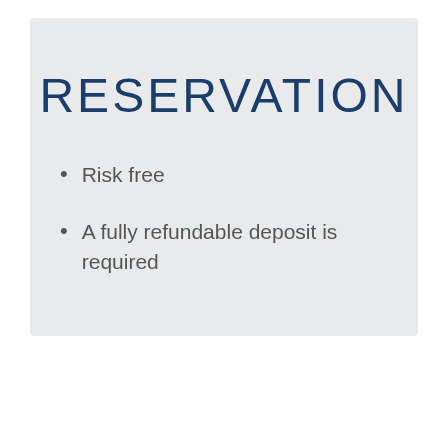RESERVATION
Risk free
A fully refundable deposit is required